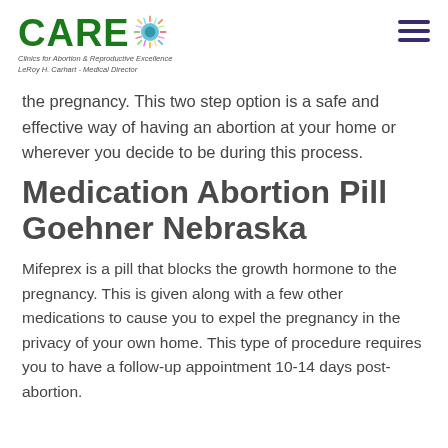[Figure (logo): CARE logo with colorful starburst graphic and subtitle: Clinics for Abortion & Reproductive Excellence, LeRoy H. Carhart - Medical Director]
the pregnancy. This two step option is a safe and effective way of having an abortion at your home or wherever you decide to be during this process.
Medication Abortion Pill Goehner Nebraska
Mifeprex is a pill that blocks the growth hormone to the pregnancy. This is given along with a few other medications to cause you to expel the pregnancy in the privacy of your own home. This type of procedure requires you to have a follow-up appointment 10-14 days post-abortion.